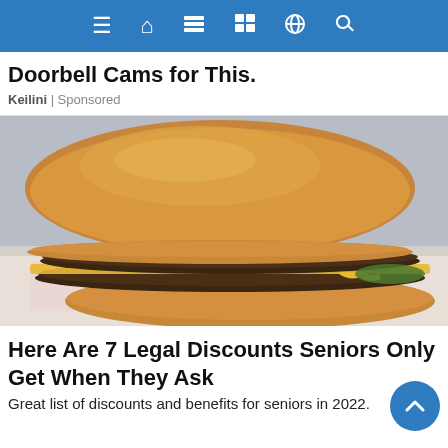Navigation bar with menu, home, reader, calendar, globe, and search icons
Doorbell Cams for This.
Keilini | Sponsored
[Figure (photo): A fast food double cheeseburger with two beef patties, melted cheese, and pickles, sitting on fast food wrapper paper.]
Here Are 7 Legal Discounts Seniors Only Get When They Ask
Great list of discounts and benefits for seniors in 2022.